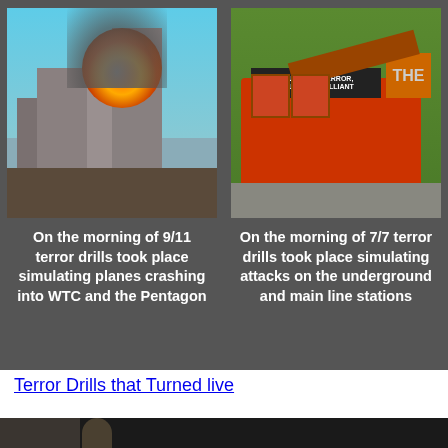[Figure (infographic): Two-panel dark background infographic. Left panel shows a photo of the World Trade Center towers with fire and explosion, with text below: 'On the morning of 9/11 terror drills took place simulating planes crashing into WTC and the Pentagon'. Right panel shows a photo of a destroyed double-decker London bus, with text below: 'On the morning of 7/7 terror drills took place simulating attacks on the underground and main line stations'.]
Terror Drills that Turned live
[Figure (photo): Partial photo at the bottom of the page, showing a person in dark clothing, mostly cut off.]